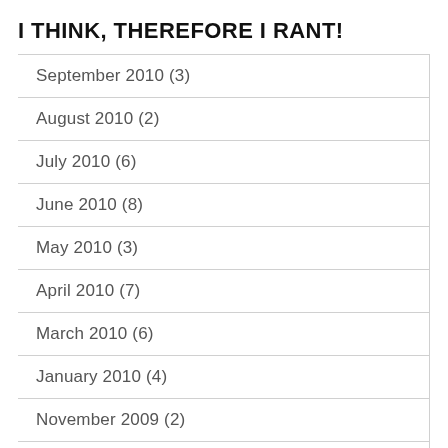I THINK, THEREFORE I RANT!
September 2010 (3)
August 2010 (2)
July 2010 (6)
June 2010 (8)
May 2010 (3)
April 2010 (7)
March 2010 (6)
January 2010 (4)
November 2009 (2)
October 2009 (3)